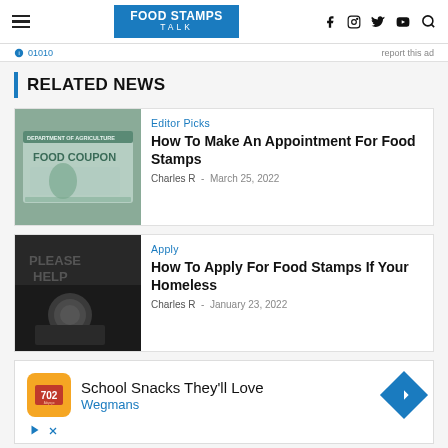FOOD STAMPS TALK
Related News
[Figure (photo): Food coupon / food stamp document close-up photo]
Editor Picks
How To Make An Appointment For Food Stamps
Charles R  -  March 25, 2022
[Figure (photo): A homeless person holding a cup, with a 'Please Help' sign in background]
Apply
How To Apply For Food Stamps If Your Homeless
Charles R  -  January 23, 2022
[Figure (infographic): Advertisement: School Snacks They'll Love - Wegmans]